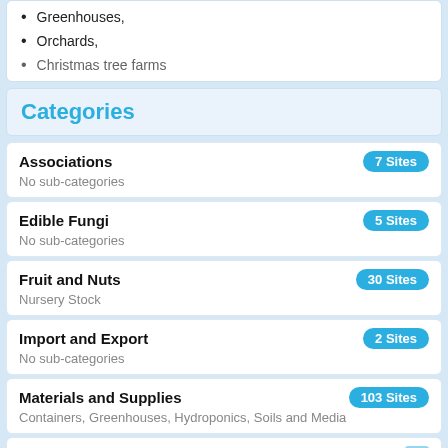Greenhouses,
Orchards,
Christmas tree farms
Categories
Associations — 7 Sites
No sub-categories
Edible Fungi — 5 Sites
No sub-categories
Fruit and Nuts — 30 Sites
Nursery Stock
Import and Export — 2 Sites
No sub-categories
Materials and Supplies — 103 Sites
Containers, Greenhouses, Hydroponics, Soils and Media